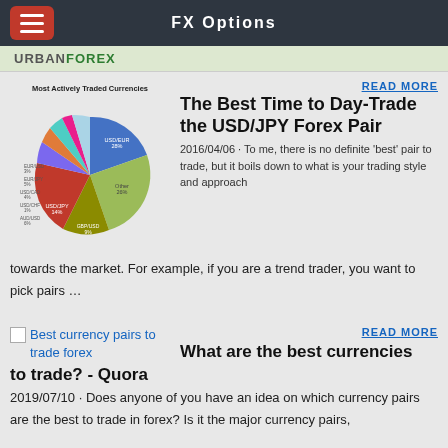FX Options
[Figure (logo): URBANFOREX logo on light green bar]
[Figure (pie-chart): Most Actively Traded Currencies]
READ MORE
The Best Time to Day-Trade the USD/JPY Forex Pair
2016/04/06 · To me, there is no definite 'best' pair to trade, but it boils down to what is your trading style and approach towards the market. For example, if you are a trend trader, you want to pick pairs …
[Figure (photo): Broken image placeholder for 'Best currency pairs to trade forex']
READ MORE
What are the best currencies to trade? - Quora
2019/07/10 · Does anyone of you have an idea on which currency pairs are the best to trade in forex? Is it the major currency pairs,